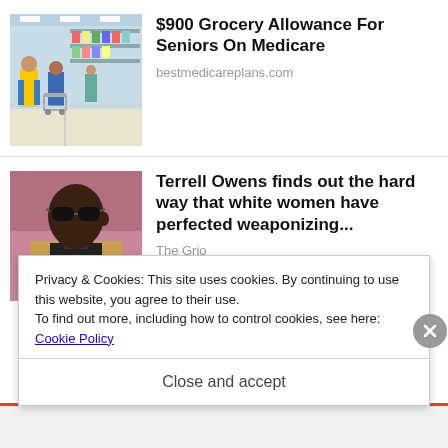[Figure (photo): People shopping in a grocery store aisle with carts]
$900 Grocery Allowance For Seniors On Medicare
bestmedicareplans.com
[Figure (photo): Terrell Owens wearing sunglasses and a tan blazer]
Terrell Owens finds out the hard way that white women have perfected weaponizing...
The Grio
Privacy & Cookies: This site uses cookies. By continuing to use this website, you agree to their use.
To find out more, including how to control cookies, see here:
Cookie Policy
Close and accept